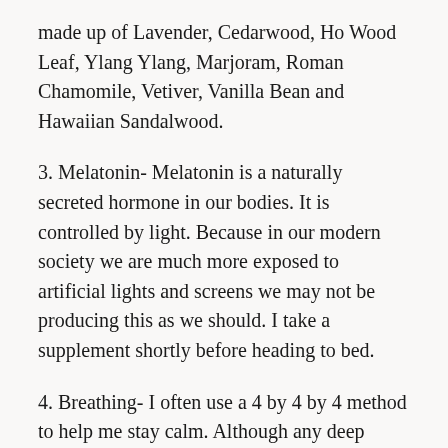made up of Lavender, Cedarwood, Ho Wood Leaf, Ylang Ylang, Marjoram, Roman Chamomile, Vetiver, Vanilla Bean and Hawaiian Sandalwood.
3. Melatonin- Melatonin is a naturally secreted hormone in our bodies. It is controlled by light. Because in our modern society we are much more exposed to artificial lights and screens we may not be producing this as we should. I take a supplement shortly before heading to bed.
4. Breathing- I often use a 4 by 4 by 4 method to help me stay calm. Although any deep breathing can help. The 4 by 4 method is where you breathe in for 4 counts, hold it for 4 counts, breathe out for 4 counts, and hold again.